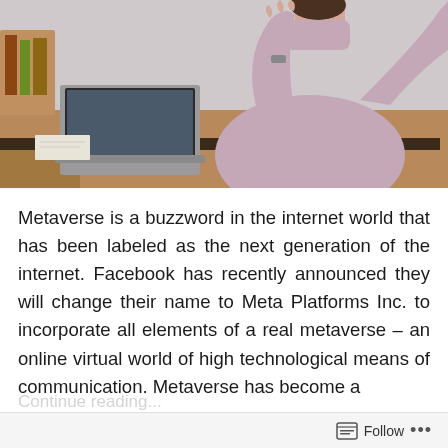[Figure (photo): A woman in a mauve/dusty rose turtleneck sweater sitting at a wooden desk with a laptop, raising both hands expressively, photographed from the side against a light grey background.]
Metaverse is a buzzword in the internet world that has been labeled as the next generation of the internet. Facebook has recently announced they will change their name to Meta Platforms Inc. to incorporate all elements of a real metaverse – an online virtual world of high technological means of communication. Metaverse has become a
Follow ...